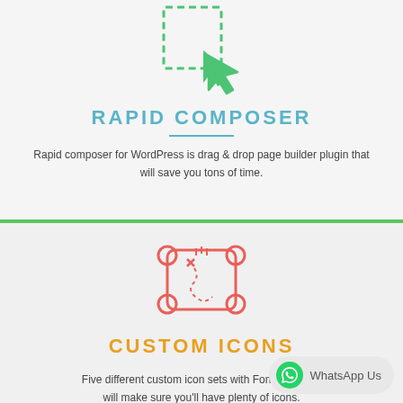[Figure (illustration): Green line-art icon of a dashed rectangle with a cursor/arrow pointer pointing into it, representing drag & drop]
RAPID COMPOSER
Rapid composer for WordPress is drag & drop page builder plugin that will save you tons of time.
[Figure (illustration): Red/coral line-art icon of a treasure map scroll with an X mark and dotted path]
CUSTOM ICONS
Five different custom icon sets with FontAwesome will make sure you'll have plenty of icons.